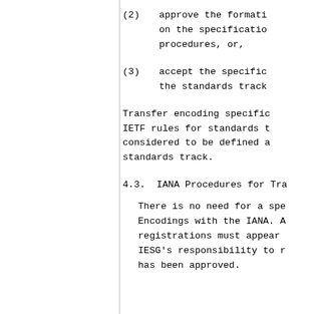(2)    approve the formation of a Working Group on the specification, using the normal procedures, or,
(3)    accept the specification directly onto the standards track
Transfer encoding specifications must meet IETF rules for standards track. They are considered to be defined at the top of the standards track.
4.3.  IANA Procedures for Tra
There is no need for a special registration of Encodings with the IANA. All such registrations must appear in an RFC. It is IESG's responsibility to make sure each one has been approved.